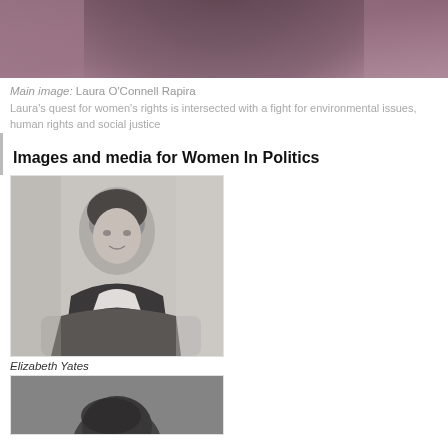[Figure (photo): Top portion of a woman with long dark hair wearing a dark purple/maroon top, cropped to show only the back and top of the head]
Main image: Laura O'Connell Rapira
Laura's quest for women's rights is intersected with a fight for environmental issues, human rights and social justice
Images and media for Women In Politics
[Figure (photo): Black and white historical portrait photograph of Elizabeth Yates, a woman in Victorian-era dress seated and leaning on a table]
Elizabeth Yates
[Figure (photo): Black and white historical photograph, partially visible at bottom of page, showing top of a person's head]